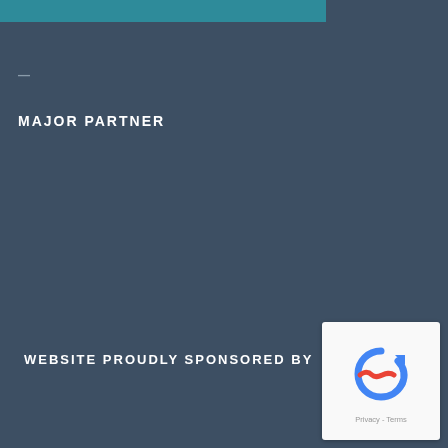[Figure (other): Teal/blue horizontal banner at top of page]
—
MAJOR PARTNER
WEBSITE PROUDLY SPONSORED BY
[Figure (logo): Google reCAPTCHA logo widget with Privacy and Terms links]